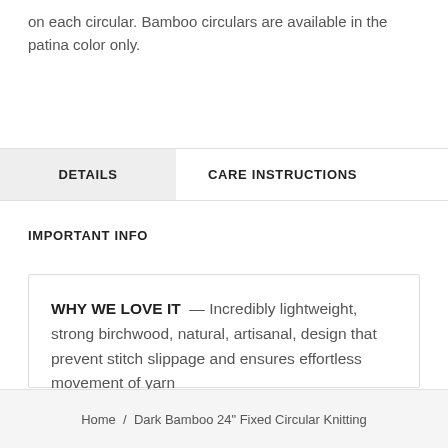on each circular. Bamboo circulars are available in the patina color only.
DETAILS
CARE INSTRUCTIONS
IMPORTANT INFO
WHY WE LOVE IT — Incredibly lightweight, strong birchwood, natural, artisanal, design that prevent stitch slippage and ensures effortless movement of yarn
Home / Dark Bamboo 24" Fixed Circular Knitting